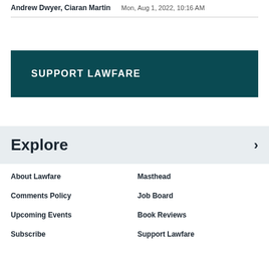Andrew Dwyer, Ciaran Martin   Mon, Aug 1, 2022, 10:16 AM
[Figure (other): Dark teal support banner with bold white uppercase text reading SUPPORT LAWFARE]
Explore
About Lawfare
Masthead
Comments Policy
Job Board
Upcoming Events
Book Reviews
Subscribe
Support Lawfare